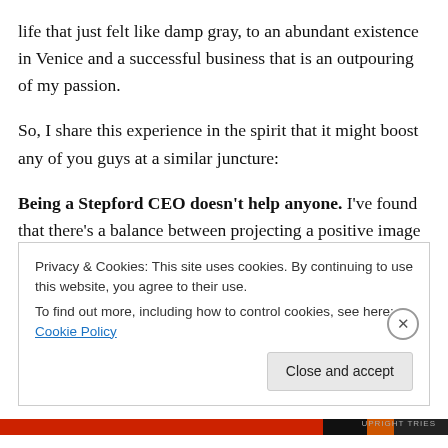life that just felt like damp gray, to an abundant existence in Venice and a successful business that is an outpouring of my passion.
So, I share this experience in the spirit that it might boost any of you guys at a similar juncture:
Being a Stepford CEO doesn't help anyone. I've found that there's a balance between projecting a positive image and having your shit together, but also being vulnerable and asking for help. Telling everyone that everything is great when you're dying inside is exhausting. And it's not
Privacy & Cookies: This site uses cookies. By continuing to use this website, you agree to their use.
To find out more, including how to control cookies, see here: Cookie Policy